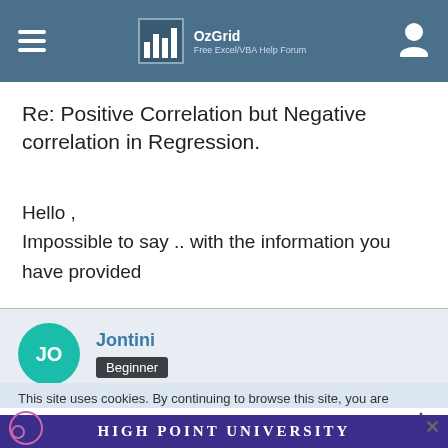OzGrid — Free Excel/VBA Help Forum
Re: Positive Correlation but Negative correlation in Regression.
Hello ,
Impossible to say .. with the information you have provided
Jontini
Beginner
Mar 12th 2016
This site uses cookies. By continuing to browse this site, you are
[Figure (screenshot): High Point University advertisement banner at the bottom of the page]
High Point University